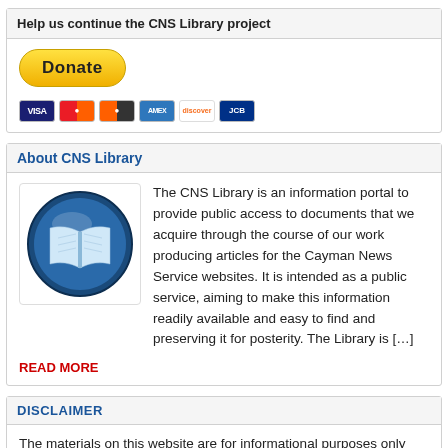Help us continue the CNS Library project
[Figure (other): PayPal Donate button with credit card icons (Visa, Mastercard, Maestro, American Express, Discover, JCB)]
About CNS Library
[Figure (logo): CNS Library logo: blue circle with open book icon]
The CNS Library is an information portal to provide public access to documents that we acquire through the course of our work producing articles for the Cayman News Service websites. It is intended as a public service, aiming to make this information readily available and easy to find and preserving it for posterity. The Library is […]
READ MORE
DISCLAIMER
The materials on this website are for informational purposes only and do not constitute legal or any other type of professional advice. This